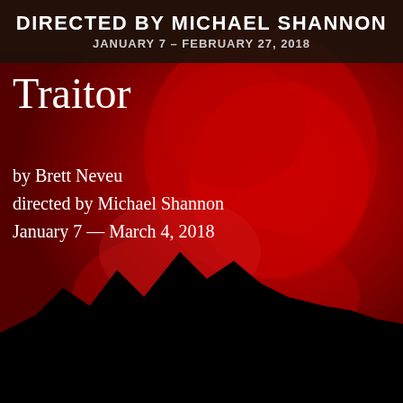[Figure (photo): Promotional poster image for the play 'Traitor'. The background features a dramatic dark red/crimson image of a face partially visible, with dark black silhouette of a mountain range at the bottom. A dark header bar at the top contains text about the production.]
DIRECTED BY MICHAEL SHANNON
JANUARY 7 – FEBRUARY 27, 2018
Traitor
by Brett Neveu
directed by Michael Shannon
January 7 — March 4, 2018